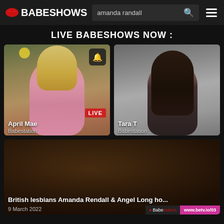BABESHOWS — search: amanda randall
LIVE BABESHOWS NOW :
[Figure (screenshot): Thumbnail of April Mae on Babestation, blond woman in pink dress, with LIVE badge and bell notification icon]
[Figure (screenshot): Thumbnail of Tara T on Babestation, dark-haired woman in black outfit]
[Figure (screenshot): Dark video thumbnail with title British lesbians Amanda Rendall & Angel Long ho... dated 9 March 2022, with Babestation and www.betv.io/03 badges]